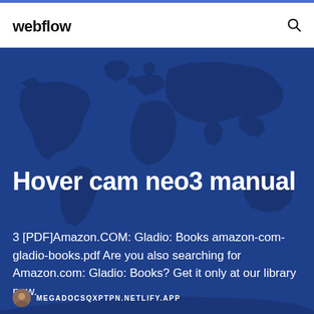webflow
[Figure (illustration): World map silhouette on dark blue background used as hero section backdrop]
Hover cam neo3 manual
3 [PDF]Amazon.COM: Gladio: Books amazon-com-gladio-books.pdf Are you also searching for Amazon.com: Gladio: Books? Get it only at our library now.
MEGADOCSQXPTPN.NETLIFY.APP